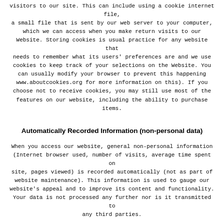visitors to our site. This can include using a cookie internet file, a small file that is sent by our web server to your computer, which we can access when you make return visits to our Website. Storing cookies is usual practice for any website that needs to remember what its users' preferences are and we use cookies to keep track of your selections on the Website. You can usually modify your browser to prevent this happening www.aboutcookies.org for more information on this). If you choose not to receive cookies, you may still use most of the features on our website, including the ability to purchase items.
Automatically Recorded Information (non-personal data)
When you access our website, general non-personal information (Internet browser used, number of visits, average time spent on site, pages viewed) is recorded automatically (not as part of website maintenance). This information is used to gauge our website's appeal and to improve its content and functionality. Your data is not processed any further nor is it transmitted to any third parties.